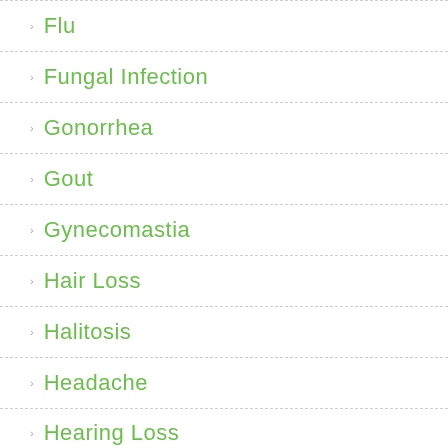Flu
Fungal Infection
Gonorrhea
Gout
Gynecomastia
Hair Loss
Halitosis
Headache
Hearing Loss